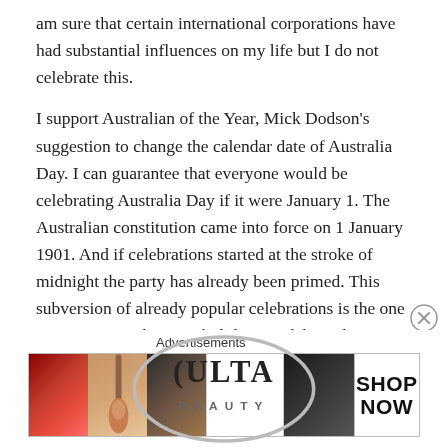am sure that certain international corporations have had substantial influences on my life but I do not celebrate this.
I support Australian of the Year, Mick Dodson’s suggestion to change the calendar date of Australia Day. I can guarantee that everyone would be celebrating Australia Day if it were January 1. The Australian constitution came into force on 1 January 1901. And if celebrations started at the stroke of midnight the party has already been primed. This subversion of already popular celebrations is the one way to ensure that new holiday is celebrated: it worked for the Christians when they converted Mithras’s birthday into Christmas.
[Figure (other): Close (X) button circle icon]
Advertisements
[Figure (photo): ULTA beauty advertisement banner showing close-up beauty images (lips with red lipstick, makeup brush, eye with brown eyeshadow, ULTA logo, eye with dark eyeshadow) and SHOP NOW text]